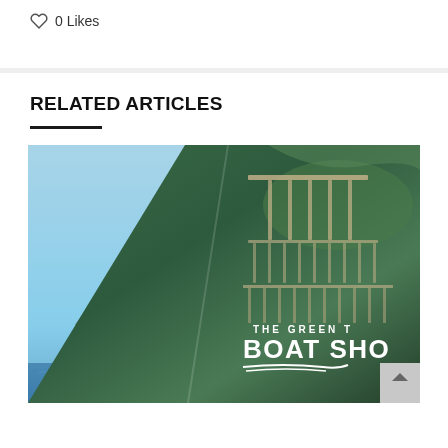0 Likes
RELATED ARTICLES
[Figure (photo): Composite image: left half shows a wooden sailing vessel with white sails on blue water, right half shows an aerial view of a marina with many boats docked, overlaid with text 'THE GREEN T... BOAT SHO...' logo]